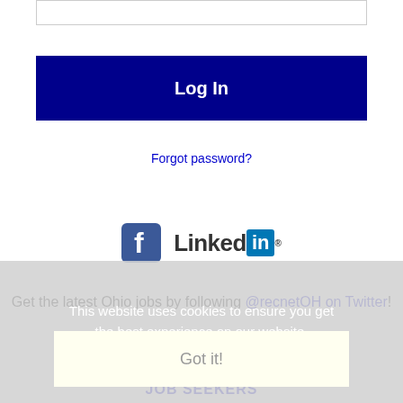[Figure (screenshot): Input text field (password or username field, empty)]
[Figure (screenshot): Log In button, dark navy blue background with white bold text]
Forgot password?
[Figure (logo): Facebook logo icon and LinkedIn logo side by side]
Get the latest Ohio jobs by following @recnetOH on Twitter!
Warren RSS job feeds
This website uses cookies to ensure you get the best experience on our website.
Learn more
Got it!
JOB SEEKERS